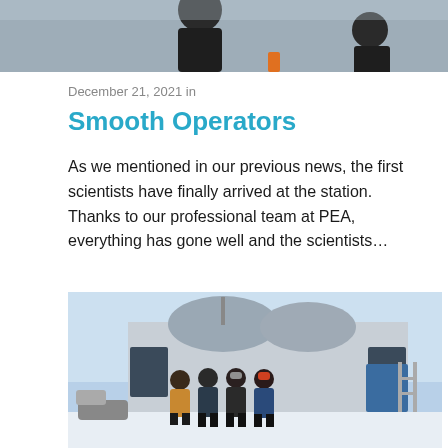[Figure (photo): Top portion of a photo showing people in dark outdoor clothing, partially cropped at bottom]
December 21, 2021 in
Smooth Operators
As we mentioned in our previous news, the first scientists have finally arrived at the station. Thanks to our professional team at PEA, everything has gone well and the scientists...
[Figure (photo): Four people standing in front of a polar research station building in snowy conditions. They are wearing winter gear. The station has a distinctive modern architectural design with solar panels visible.]